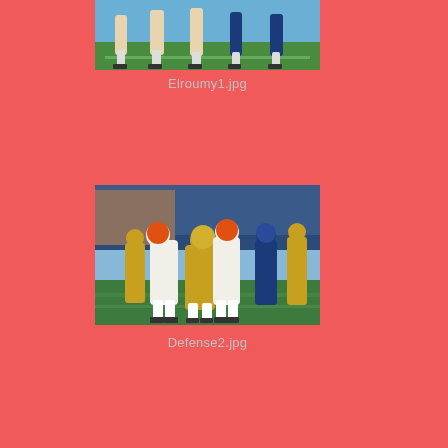[Figure (photo): Football players on a field, partial view showing legs and turf — top portion of image cropped]
Elroumy1.jpg
[Figure (photo): Football game action photo showing defensive tackle — multiple players in white and gold uniforms colliding, stadium background]
Defense2.jpg